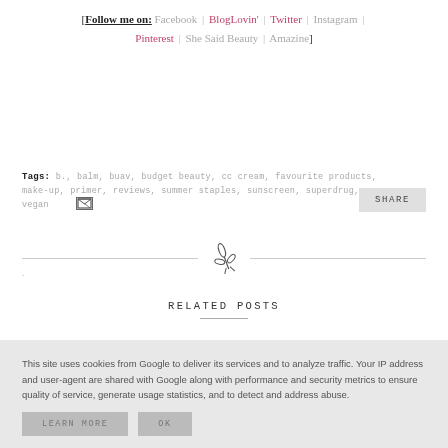[Follow me on: Facebook | BlogLovin' | Twitter | Instagram | Pinterest | She Said Beauty | Amazine]
Tags: b., balm, buav, budget beauty, cc cream, favourite products, make-up, primer, reviews, summer staples, sunscreen, superdrug, vegan
RELATED POSTS
This site uses cookies from Google to deliver its services and to analyze traffic. Your IP address and user-agent are shared with Google along with performance and security metrics to ensure quality of service, generate usage statistics, and to detect and address abuse.